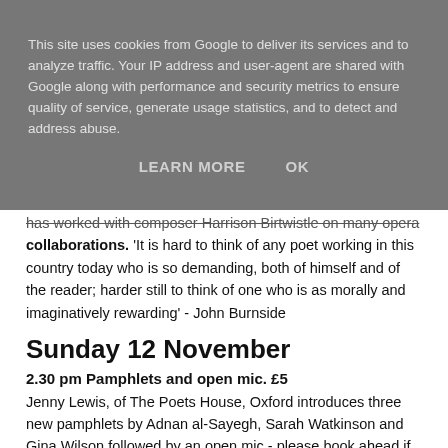This site uses cookies from Google to deliver its services and to analyze traffic. Your IP address and user-agent are shared with Google along with performance and security metrics to ensure quality of service, generate usage statistics, and to detect and address abuse.
LEARN MORE   OK
has worked with composer Harrison Birtwistle on many opera collaborations. 'It is hard to think of any poet working in this country today who is so demanding, both of himself and of the reader; harder still to think of one who is as morally and imaginatively rewarding' - John Burnside
Sunday 12 November
2.30 pm Pamphlets and open mic. £5
Jenny Lewis, of The Poets House, Oxford introduces three new pamphlets by Adnan al-Sayegh, Sarah Watkinson and Gina Wilson followed by an open mic - please book ahead if you would like to participate.
4.30pm Caroline Bird & Keith Jarrett. £8